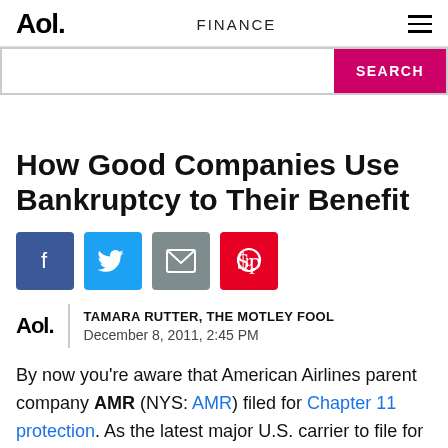Aol. | FINANCE
[Figure (screenshot): Search bar with pink SEARCH button]
How Good Companies Use Bankruptcy to Their Benefit
[Figure (infographic): Social sharing icons: Facebook, Twitter, Email, Pinterest]
TAMARA RUTTER, THE MOTLEY FOOL
December 8, 2011, 2:45 PM
By now you're aware that American Airlines parent company AMR (NYS: AMR) filed for Chapter 11 protection. As the latest major U.S. carrier to file for